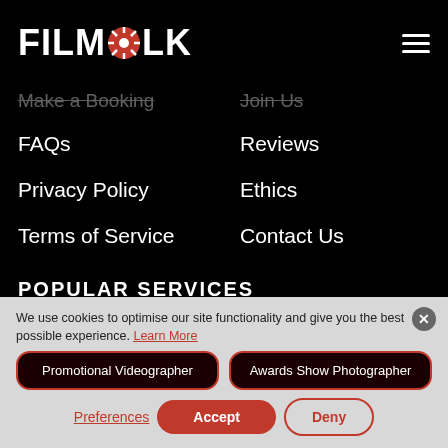FILMFOLK
Make a Booking
Join Us
FAQs
Reviews
Privacy Policy
Ethics
Terms of Service
Contact Us
POPULAR SERVICES
Drone Photography
Convert VHS to Digital
Promotional Videographer
Awards Show Photographer
We use cookies to optimise our site functionality and give you the best possible experience. Learn More
Preferences
Accept
Deny